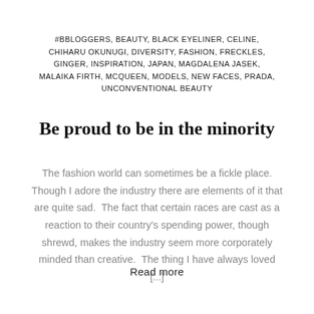#BBLOGGERS, BEAUTY, BLACK EYELINER, CELINE, CHIHARU OKUNUGI, DIVERSITY, FASHION, FRECKLES, GINGER, INSPIRATION, JAPAN, MAGDALENA JASEK, MALAIKA FIRTH, MCQUEEN, MODELS, NEW FACES, PRADA, UNCONVENTIONAL BEAUTY
Be proud to be in the minority
The fashion world can sometimes be a fickle place. Though I adore the industry there are elements of it that are quite sad.  The fact that certain races are cast as a reaction to their country's spending power, though shrewd, makes the industry seem more corporately minded than creative.  The thing I have always loved [...]
Read more